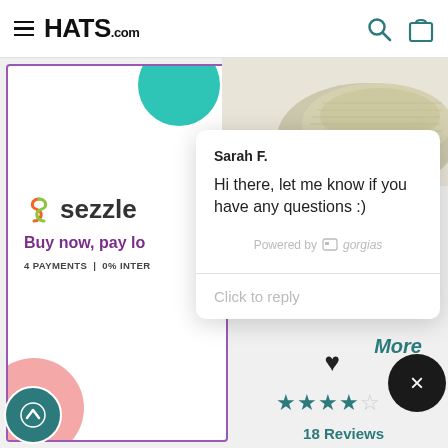[Figure (screenshot): Hats.com website header with hamburger menu, HATS.com logo, search icon, and shopping bag icon]
[Figure (screenshot): Sezzle payment banner: 'Buy now, pay later, 4 PAYMENTS | 0% INTEREST' with sezzle logo and decorative circles]
[Figure (photo): Beige/tan knit flat cap hat on white/light background]
[Figure (screenshot): Chat popup from Sarah F. saying 'Hi there, let me know if you have any questions :)' powered by gorgias, with 'Click to reply' input]
More
18 Reviews